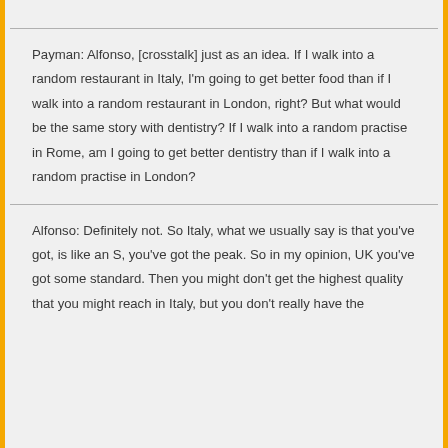Payman: Alfonso, [crosstalk] just as an idea. If I walk into a random restaurant in Italy, I'm going to get better food than if I walk into a random restaurant in London, right? But what would be the same story with dentistry? If I walk into a random practise in Rome, am I going to get better dentistry than if I walk into a random practise in London?
Alfonso: Definitely not. So Italy, what we usually say is that you've got, is like an S, you've got the peak. So in my opinion, UK you've got some standard. Then you might don't get the highest quality that you might reach in Italy, but you don't really have the